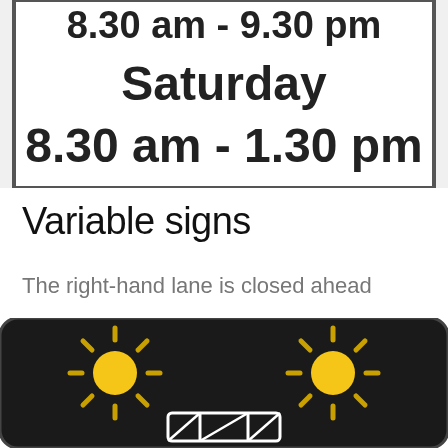[Figure (photo): Road sign showing Saturday 8.30 am - 1.30 pm hours, black text on white background with border]
Variable signs
The right-hand lane is closed ahead
[Figure (photo): Variable message sign with black background showing two yellow sun symbols on left and right, and white lane closure symbol at bottom center]